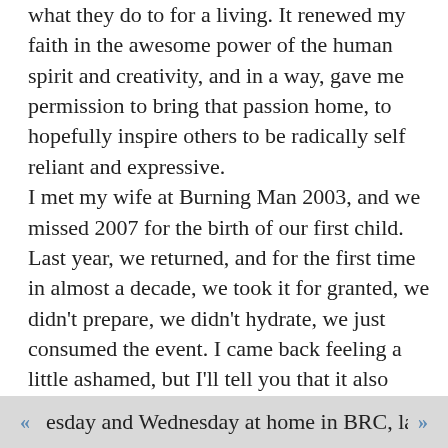what they do to for a living. It renewed my faith in the awesome power of the human spirit and creativity, and in a way, gave me permission to bring that passion home, to hopefully inspire others to be radically self reliant and expressive.
I met my wife at Burning Man 2003, and we missed 2007 for the birth of our first child. Last year, we returned, and for the first time in almost a decade, we took it for granted, we didn't prepare, we didn't hydrate, we just consumed the event. I came back feeling a little ashamed, but I'll tell you that it also taught me one of my favorite and most heartfelt lessons. I must be and create what I want to see in my life and in the world around me. This year I defied my self-proclaimed 6% chance of attending by driving through the night to arrive with no ticket (thank you to the greeter who lped me attain one at face value!), spent an amazing esday and Wednesday at home in BRC, laughing an
« »